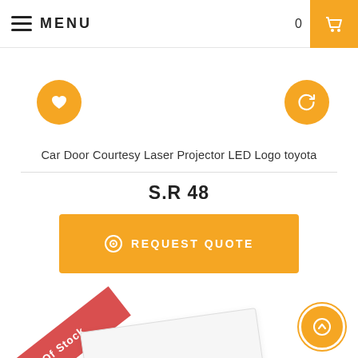MENU
[Figure (screenshot): Heart icon button (yellow circle with white heart)]
[Figure (screenshot): Refresh/compare icon button (yellow circle with white refresh arrows)]
Car Door Courtesy Laser Projector LED Logo toyota
S.R 48
[Figure (screenshot): REQUEST QUOTE button with target/circle icon on yellow background]
[Figure (screenshot): Out Of Stock red ribbon banner in top-left corner of product card]
[Figure (screenshot): Scroll to top button - yellow circle with white up arrow, bottom right]
[Figure (photo): Product card/image partially visible at bottom of page]